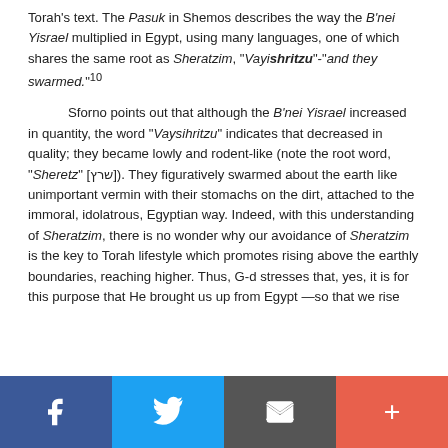Torah's text. The Pasuk in Shemos describes the way the B'nei Yisrael multiplied in Egypt, using many languages, one of which shares the same root as Sheratzim, "Vayishritzu"-"and they swarmed."10
Sforno points out that although the B'nei Yisrael increased in quantity, the word "Vaysihritzu" indicates that decreased in quality; they became lowly and rodent-like (note the root word, "Sheretz" [שרץ]). They figuratively swarmed about the earth like unimportant vermin with their stomachs on the dirt, attached to the immoral, idolatrous, Egyptian way. Indeed, with this understanding of Sheratzim, there is no wonder why our avoidance of Sheratzim is the key to Torah lifestyle which promotes rising above the earthly boundaries, reaching higher. Thus, G-d stresses that, yes, it is for this purpose that He brought us up from Egypt —so that we rise
[Figure (infographic): Social sharing footer bar with four buttons: Facebook (blue), Twitter (light blue), Email/envelope (dark gray), and Plus/add (orange-red)]